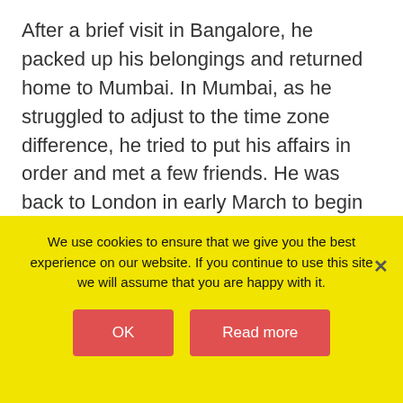After a brief visit in Bangalore, he packed up his belongings and returned home to Mumbai. In Mumbai, as he struggled to adjust to the time zone difference, he tried to put his affairs in order and met a few friends. He was back to London in early March to begin his new job in a role where his friends would refer to him as “Banker”.

I don’t need to tell you that the young man is me and am happy to say that I have completed my first year in London, in a job I grew to love!
We use cookies to ensure that we give you the best experience on our website. If you continue to use this site we will assume that you are happy with it.